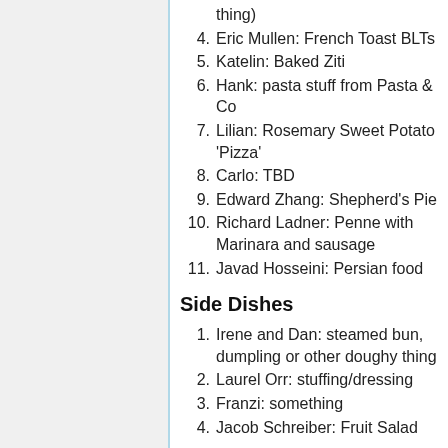4. Eric Mullen: French Toast BLTs
5. Katelin: Baked Ziti
6. Hank: pasta stuff from Pasta & Co
7. Lilian: Rosemary Sweet Potato 'Pizza'
8. Carlo: TBD
9. Edward Zhang: Shepherd's Pie
10. Richard Ladner: Penne with Marinara and sausage
11. Javad Hosseini: Persian food
Side Dishes
1. Irene and Dan: steamed bun, dumpling or other doughy thing
2. Laurel Orr: stuffing/dressing
3. Franzi: something
4. Jacob Schreiber: Fruit Salad